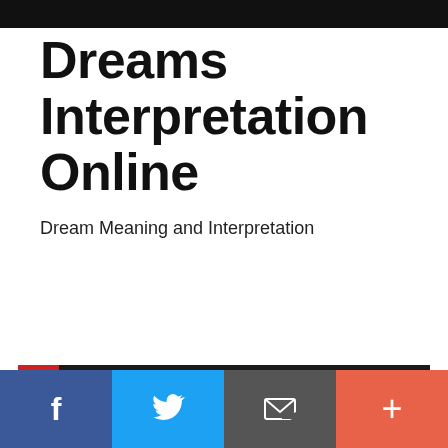Dreams Interpretation Online
Dream Meaning and Interpretation
Home › Dreams Interpretation › Dream about animal › Dreaming of the sea turtle mean? Dream of turtle interpretations.
f  Twitter  Email  +